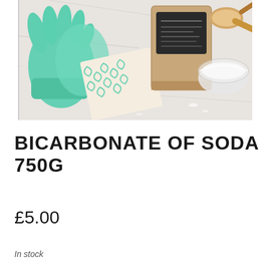[Figure (photo): Product photo showing green rubber gloves, a patterned cloth, a kraft paper bag of bicarbonate of soda with a dark label, a glass bowl of white powder, and a wooden scoop on a marble surface.]
BICARBONATE OF SODA 750G
£5.00
In stock